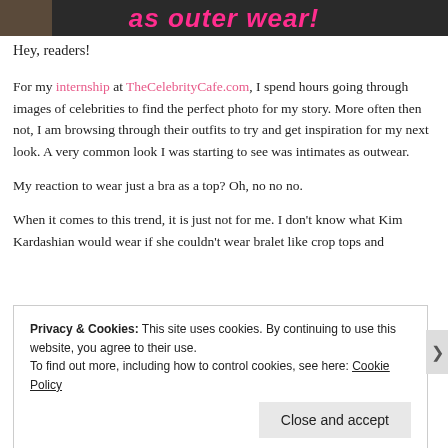[Figure (photo): Dark banner image with pink bold italic text reading 'as outer wear!' partially visible, with a photo thumbnail on the left side]
Hey, readers!
For my internship at TheCelebrityCafe.com, I spend hours going through images of celebrities to find the perfect photo for my story. More often then not, I am browsing through their outfits to try and get inspiration for my next look. A very common look I was starting to see was intimates as outwear.
My reaction to wear just a bra as a top? Oh, no no no.
When it comes to this trend, it is just not for me. I don't know what Kim Kardashian would wear if she couldn't wear bralet like crop tops and
Privacy & Cookies: This site uses cookies. By continuing to use this website, you agree to their use.
To find out more, including how to control cookies, see here: Cookie Policy
Close and accept